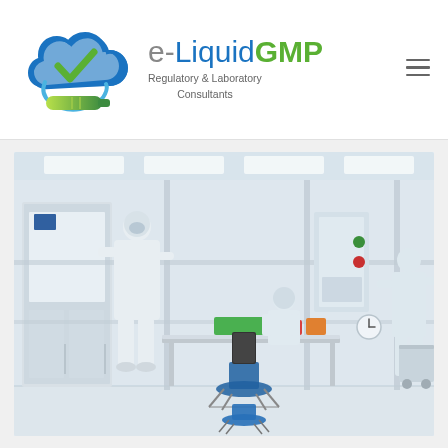[Figure (logo): e-LiquidGMP logo: blue cloud outline with green checkmark inside, green e-cigarette/vape pen at bottom of cloud, blue circular arrow forming cloud shape]
e-LiquidGMP
Regulatory & Laboratory Consultants
[Figure (photo): Cleanroom/laboratory facility photograph showing three workers in full white protective suits (bunny suits), gloves, and head coverings working in a sterile clean room environment. One worker on left operates equipment at a cabinet, one worker in center sits at a bench, and one worker on right moves equipment near a doorway. The room has glass partition walls, white floors, fluorescent lighting, and sterile lab equipment.]